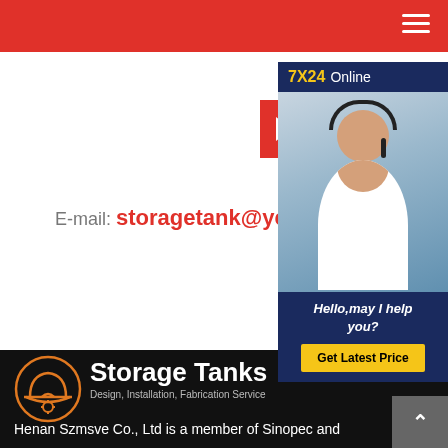[Figure (screenshot): Red navigation bar with hamburger menu icon]
[Figure (screenshot): Online Service button with red background and chevron]
E-mail: storagetank@ye
[Figure (screenshot): 7X24 Online chat widget showing a customer service representative with headset, text 'Hello,may I help you?' and 'Get Latest Price' button]
[Figure (logo): Storage Tanks logo with orange hard hat icon]
Storage Tanks
Design, Installation, Fabrication Service
Henan Szmsve Co., Ltd is a member of Sinopec and